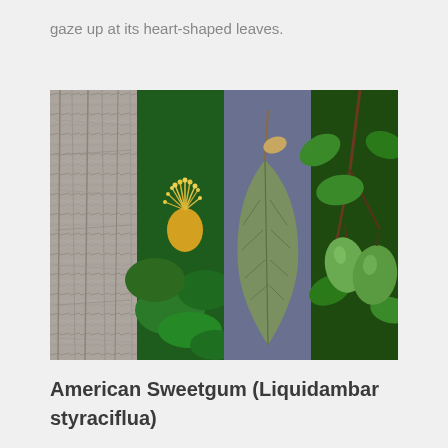gaze up at its heart-shaped leaves.
[Figure (photo): Four-panel composite photograph showing features of a tree: bark texture (gray/weathered), yellow flower with green foliage, heart-shaped leaf on purple background, and green fruits on branch with leaves.]
American Sweetgum (Liquidambar styraciflua)